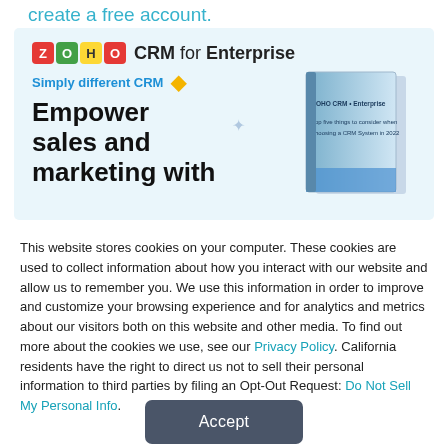create a free account.
[Figure (illustration): Zoho CRM for Enterprise advertisement banner with logo, tagline 'Simply different CRM', headline 'Empower sales and marketing with', and a book graphic on the right side]
This website stores cookies on your computer. These cookies are used to collect information about how you interact with our website and allow us to remember you. We use this information in order to improve and customize your browsing experience and for analytics and metrics about our visitors both on this website and other media. To find out more about the cookies we use, see our Privacy Policy. California residents have the right to direct us not to sell their personal information to third parties by filing an Opt-Out Request: Do Not Sell My Personal Info.
Accept